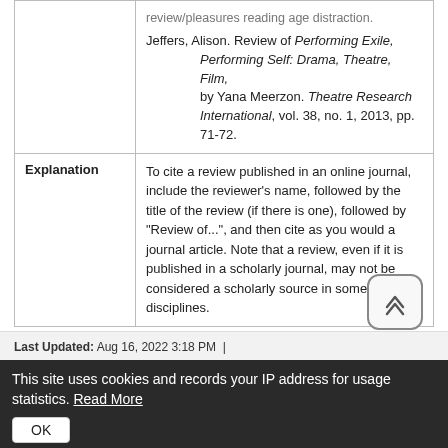|  |  |
| --- | --- |
|  | review/pleasures reading age distraction.

Jeffers, Alison. Review of Performing Exile, Performing Self: Drama, Theatre, Film, by Yana Meerzon. Theatre Research International, vol. 38, no. 1, 2013, pp. 71-72. |
| Explanation | To cite a review published in an online journal, include the reviewer's name, followed by the title of the review (if there is one), followed by "Review of...", and then cite as you would a journal article. Note that a review, even if it is published in a scholarly journal, may not be considered a scholarly source in some disciplines. |
Last Updated: Aug 16, 2022 3:18 PM
This site uses cookies and records your IP address for usage statistics. Read More